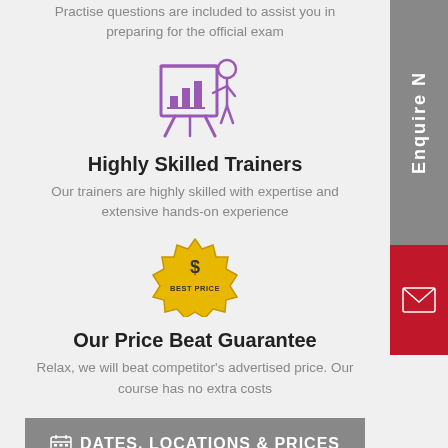Practise questions are included to assist you in preparing for the official exam
[Figure (illustration): Purple icon of a trainer presenting at a whiteboard/chart]
Highly Skilled Trainers
Our trainers are highly skilled with expertise and extensive hands-on experience
[Figure (illustration): Gold/yellow badge icon with dollar sign and text BEST PRICE]
Our Price Beat Guarantee
Relax, we will beat competitor's advertised price. Our course has no extra costs
DATES, LOCATIONS & PRICES